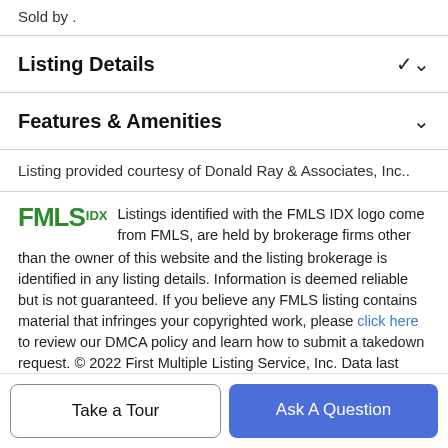Sold by .
Listing Details
Features & Amenities
Listing provided courtesy of Donald Ray & Associates, Inc..
Listings identified with the FMLS IDX logo come from FMLS, are held by brokerage firms other than the owner of this website and the listing brokerage is identified in any listing details. Information is deemed reliable but is not guaranteed. If you believe any FMLS listing contains material that infringes your copyrighted work, please click here to review our DMCA policy and learn how to submit a takedown request. © 2022 First Multiple Listing Service, Inc. Data last updated 2022-08-
Take a Tour
Ask A Question